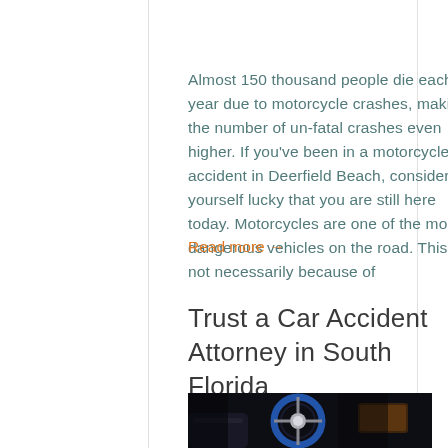Almost 150 thousand people die each year due to motorcycle crashes, making the number of un-fatal crashes even higher. If you've been in a motorcycle accident in Deerfield Beach, consider yourself lucky that you are still here today. Motorcycles are one of the most dangerous vehicles on the road. This is not necessarily because of
Read more →
Trust a Car Accident Attorney in South Florida
[Figure (photo): Close-up photo of a blue and silver aftermarket steering wheel inside a dark car interior]